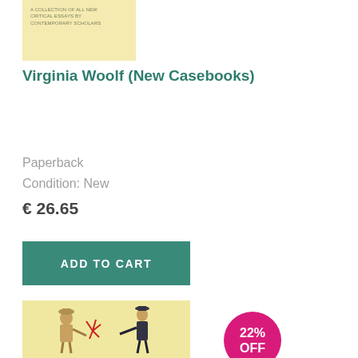[Figure (illustration): Book cover with pale yellow background and small text reading 'A COLLECTION OF ALL NEW CRITICAL ESSAYS BY CONTEMPORARY SCHOLARS']
Virginia Woolf (New Casebooks)
Paperback
Condition: New
€ 26.65
ADD TO CART
[Figure (illustration): Book cover showing folk art style figures: two people with one holding a red plant/flower, on a pale yellow background]
22% OFF